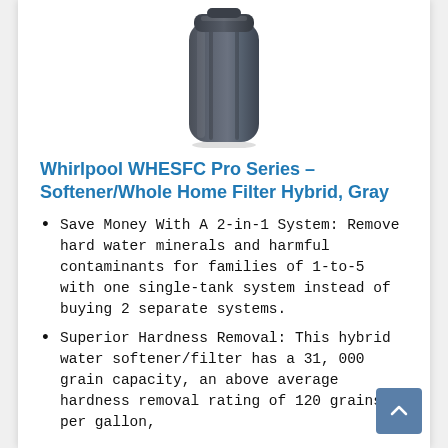[Figure (photo): Gray tall cylindrical water softener/filter unit (Whirlpool WHESFC Pro Series) viewed from front, dark charcoal/gray color, tall narrow tank shape with ridged top cap]
Whirlpool WHESFC Pro Series – Softener/Whole Home Filter Hybrid, Gray
Save Money With A 2-in-1 System: Remove hard water minerals and harmful contaminants for families of 1-to-5 with one single-tank system instead of buying 2 separate systems.
Superior Hardness Removal: This hybrid water softener/filter has a 31, 000 grain capacity, an above average hardness removal rating of 120 grains per gallon,